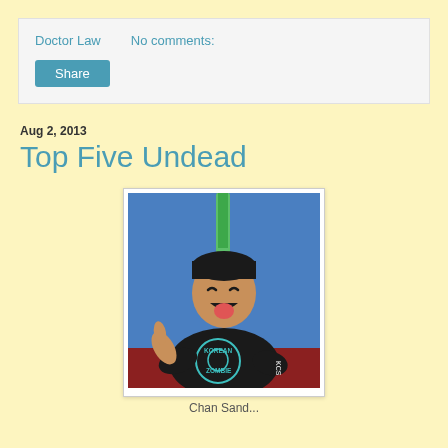Doctor Law   No comments:
Share
Aug 2, 2013
Top Five Undead
[Figure (photo): A young Asian man wearing a black 'Korean Zombie' t-shirt, making a thumbs-up gesture and sticking his tongue out, posed against a blue wall.]
Chan Sand...